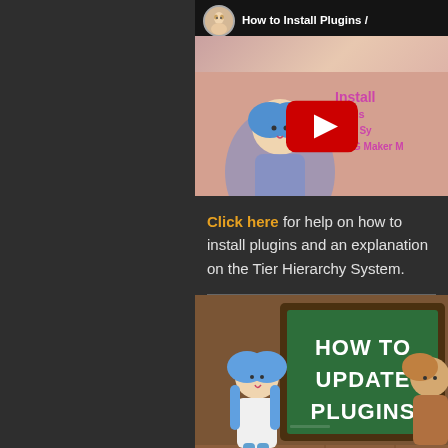[Figure (screenshot): YouTube video thumbnail for 'How to Install Plugins' for RPG Maker, showing an anime character, a YouTube play button, and text 'Install Plugins / Tier Hierarchy System for RPG Maker MZ']
Click here for help on how to install plugins and an explanation on the Tier Hierarchy System.
[Figure (screenshot): YouTube video thumbnail titled 'HOW TO UPDATE PLUGINS' showing anime chibi characters in front of a green chalkboard]